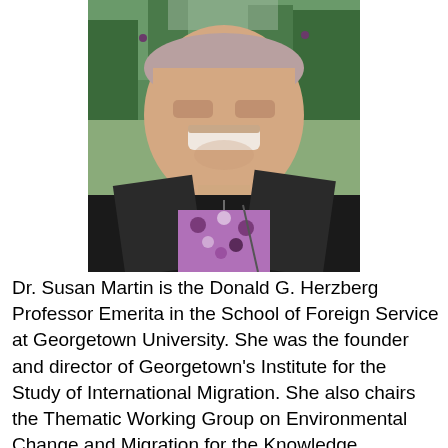[Figure (photo): Portrait photo of Dr. Susan Martin, an older woman smiling, wearing a black jacket over a purple floral top, with green trees in the background.]
Dr. Susan Martin is the Donald G. Herzberg Professor Emerita in the School of Foreign Service at Georgetown University. She was the founder and director of Georgetown's Institute for the Study of International Migration. She also chairs the Thematic Working Group on Environmental Change and Migration for the Knowledge Partnership in Migration and Development (KNOMAD) at the World Bank.